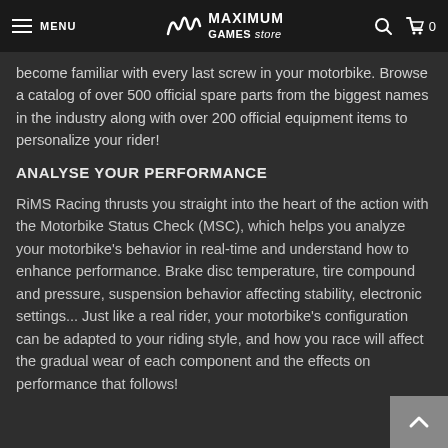MENU | MAXIMUM GAMES store | Search | Cart 0
become familiar with every last screw in your motorbike. Browse a catalog of over 500 official spare parts from the biggest names in the industry along with over 200 official equipment items to personalize your rider!
ANALYSE YOUR PERFORMANCE
RiMS Racing thrusts you straight into the heart of the action with the Motorbike Status Check (MSC), which helps you analyze your motorbike's behavior in real-time and understand how to enhance performance. Brake disc temperature, tire compound and pressure, suspension behavior affecting stability, electronic settings... Just like a real rider, your motorbike's configuration can be adapted to your riding style, and how you race will affect the gradual wear of each component and the effects on performance that follows!